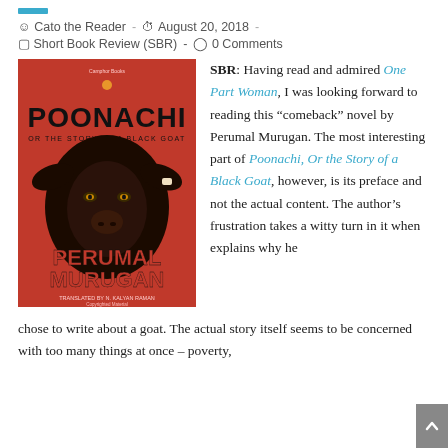Cato the Reader  -  August 20, 2018  -
Short Book Review (SBR)  -  0 Comments
[Figure (photo): Book cover of 'Poonachi Or The Story of a Black Goat' by Perumal Murugan, translated by N. Kalyan Raman. Red background with a large illustrated black goat face in the center. Bold black and red lettering.]
SBR: Having read and admired One Part Woman, I was looking forward to reading this “comeback” novel by Perumal Murugan. The most interesting part of Poonachi, Or the Story of a Black Goat, however, is its preface and not the actual content. The author’s frustration takes a witty turn in it when explains why he chose to write about a goat. The actual story itself seems to be concerned with too many things at once – poverty,